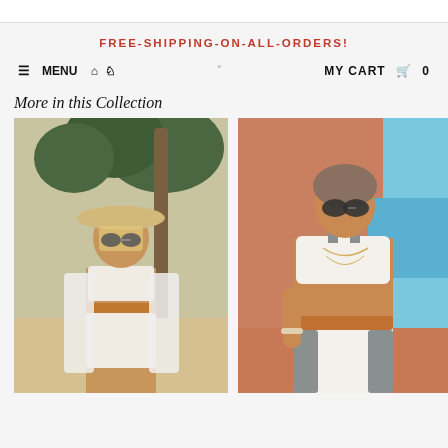FREE-SHIPPING-ON-ALL-ORDERS!
≡ MENU 🏠 👤   ˅   MY CART 🛒 0
More in this Collection
[Figure (photo): Woman in white bikini and wide-brim tan hat standing near palm tree on beach, wearing sunglasses and open white shirt]
[Figure (photo): Woman in white and gray/brown color-block bikini sitting near terracotta wall with ocean in background, wearing sunglasses and layered necklaces]